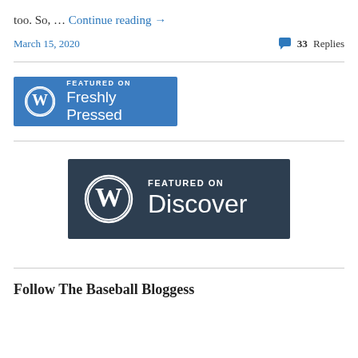too. So, … Continue reading →
March 15, 2020    💬 33 Replies
[Figure (logo): WordPress 'Featured on Freshly Pressed' badge — blue rectangle with WordPress W logo and text FEATURED ON / Freshly Pressed in white]
[Figure (logo): WordPress 'Featured on Discover' badge — dark navy rectangle with WordPress W logo and text FEATURED ON / Discover in white]
Follow The Baseball Bloggess